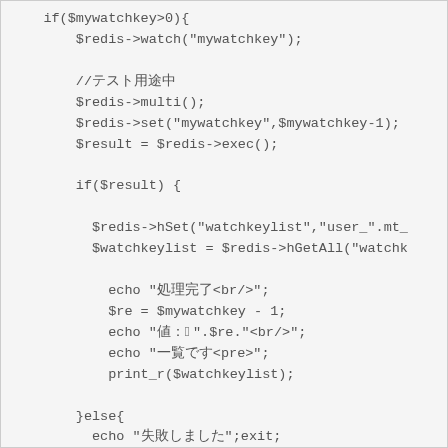[Figure (screenshot): Code snippet in PHP showing Redis watch/multi/exec transaction logic with conditionals, hSet, hGetAll, echo statements, and else block.]